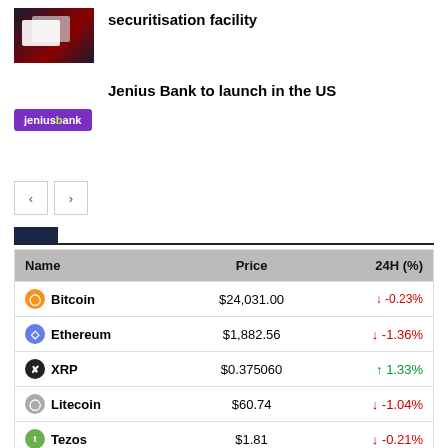[Figure (photo): Screenshot of a card/dashboard interface with dark red background]
securitisation facility
[Figure (logo): Jenius Bank logo - purple rectangle with white text]
Jenius Bank to launch in the US
[Figure (other): Navigation arrows: left and right chevron buttons]
| Name | Price | 24H (%) |
| --- | --- | --- |
| Bitcoin | $24,031.00 | ↓ -0.23% |
| Ethereum | $1,882.56 | ↓ -1.36% |
| XRP | $0.375060 | ↑ 1.33% |
| Litecoin | $60.74 | ↓ -1.04% |
| Tezos | $1.81 | ↓ -0.21% |